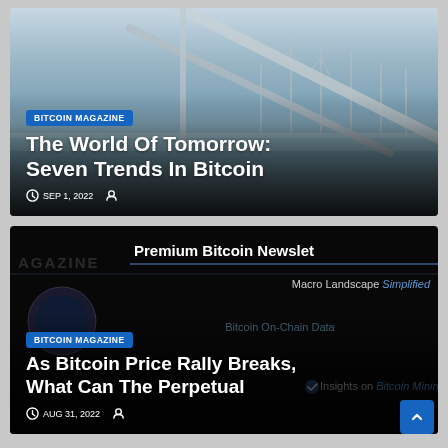[Figure (photo): Article card 1: Wind turbines over water, blue sky, with overlay text. Badge: BITCOIN MAGAZINE. Title: The World Of Tomorrow: Seven Trends In Bitcoin. Date: SEP 1, 2022.]
[Figure (screenshot): Article card 2: Dark/black background showing Premium Bitcoin Newsletter promotional image with overlaid text. Badge: BITCOIN MAGAZINE. Title: As Bitcoin Price Rally Breaks, What Can The Perpetual. Date: AUG 31, 2022.]